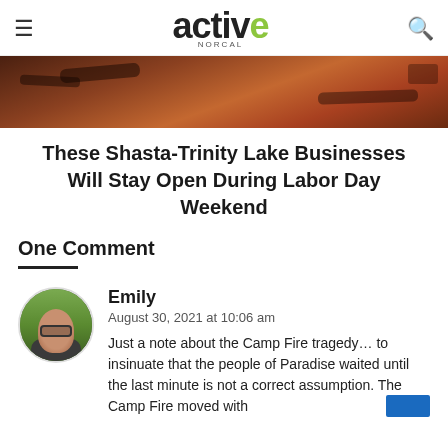active NORCAL
[Figure (photo): Hero image showing scorched earth and debris from the Camp Fire, reddish-brown tones]
These Shasta-Trinity Lake Businesses Will Stay Open During Labor Day Weekend
One Comment
Emily
August 30, 2021 at 10:06 am
Just a note about the Camp Fire tragedy… to insinuate that the people of Paradise waited until the last minute is not a correct assumption. The Camp Fire moved with